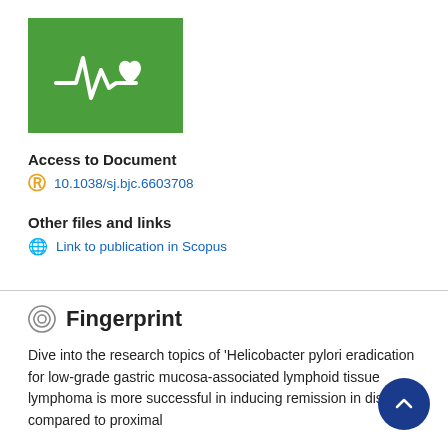[Figure (logo): Green box with white heartbeat/ECG line and heart icon — health/medical logo]
Access to Document
10.1038/sj.bjc.6603708
Other files and links
Link to publication in Scopus
Fingerprint
Dive into the research topics of 'Helicobacter pylori eradication for low-grade gastric mucosa-associated lymphoid tissue lymphoma is more successful in inducing remission in distal compared to proximal